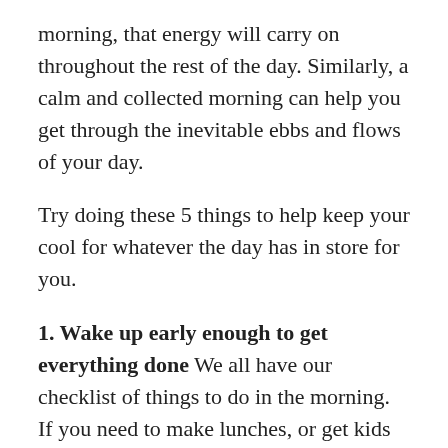morning, that energy will carry on throughout the rest of the day. Similarly, a calm and collected morning can help you get through the inevitable ebbs and flows of your day.
Try doing these 5 things to help keep your cool for whatever the day has in store for you.
1. Wake up early enough to get everything done We all have our checklist of things to do in the morning. If you need to make lunches, or get kids ready, be sure you allow ample time for that in your morning. Getting out of bed at the last possible second will only make you feel rushed. Making time to get it all done will help you properly